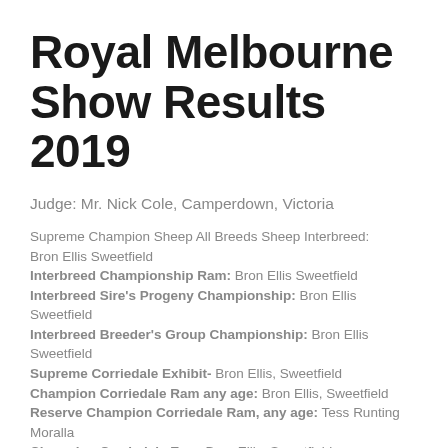Royal Melbourne Show Results 2019
Judge: Mr. Nick Cole, Camperdown, Victoria
Supreme Champion Sheep All Breeds Sheep Interbreed: Bron Ellis Sweetfield
Interbreed Championship Ram: Bron Ellis Sweetfield
Interbreed Sire's Progeny Championship: Bron Ellis Sweetfield
Interbreed Breeder's Group Championship: Bron Ellis Sweetfield
Supreme Corriedale Exhibit- Bron Ellis, Sweetfield
Champion Corriedale Ram any age: Bron Ellis, Sweetfield
Reserve Champion Corriedale Ram, any age: Tess Runting Moralla
Champion Corriedale Ewe: Bron Ellis, Sweetfield
Reserve Champion Corriedale Ewe, any age: Bron Ellis, Sweetfield